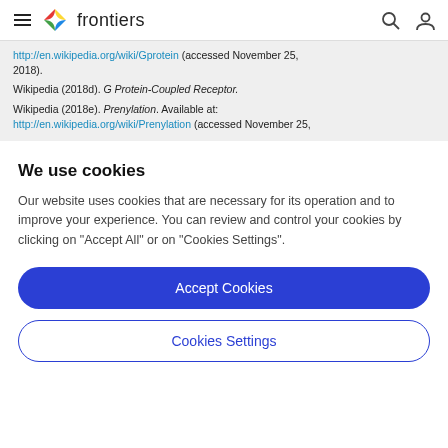frontiers (navigation bar with logo, search, and user icons)
http://en.wikipedia.org/wiki/Gprotein (accessed November 25, 2018).
Wikipedia (2018d). G Protein-Coupled Receptor.
Wikipedia (2018e). Prenylation. Available at: http://en.wikipedia.org/wiki/Prenylation (accessed November 25,
We use cookies
Our website uses cookies that are necessary for its operation and to improve your experience. You can review and control your cookies by clicking on "Accept All" or on "Cookies Settings".
Accept Cookies
Cookies Settings